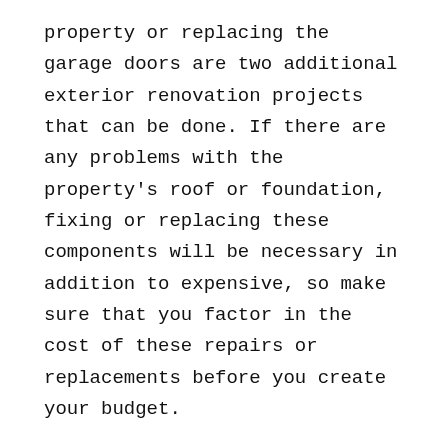property or replacing the garage doors are two additional exterior renovation projects that can be done. If there are any problems with the property's roof or foundation, fixing or replacing these components will be necessary in addition to expensive, so make sure that you factor in the cost of these repairs or replacements before you create your budget.
EXTERIOR HOME DESIGN GUIDELINES YOU CANNOT IGNORE
Creating a solid plan in advance is essential to the completion of a successful exterior home